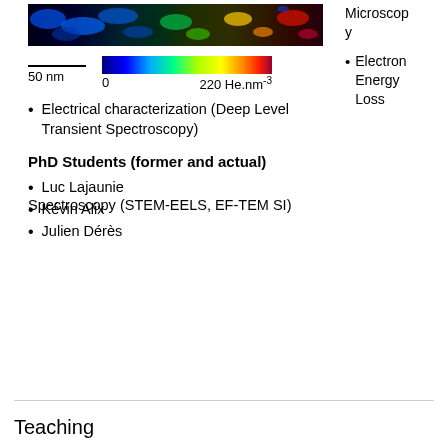[Figure (other): False-color STEM or EF-TEM map image showing helium distribution, displayed as a colorful band with a black background. Colors range from blue/green patches to yellow/red areas.]
0  220 He.nm⁻³ scale bar 50 nm
Microscopy
Electron Energy Loss Spectroscopy (STEM-EELS, EF-TEM SI)
Electrical characterization (Deep Level Transient Spectroscopy)
PhD Students (former and actual)
Luc Lajaunie
Kévin Alix
Julien Dérès
Teaching